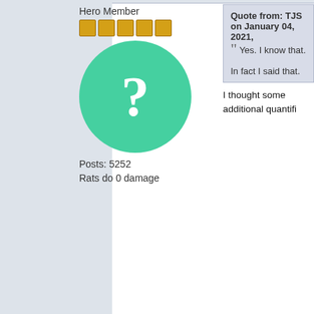Hero Member
[Figure (illustration): Five yellow star rating squares]
[Figure (illustration): Green circle avatar with white question mark]
Posts: 5252
Rats do 0 damage
Quote from: TJS on January 04, 2021,
Yes.  I know that.

In fact I said that.
I thought some additional quantifi
Abraxus
Hero Member
[Figure (illustration): Five yellow star rating squares]
[Figure (photo): Photo of a man wearing sunglasses and a black beret]
Posts: 2324
Re: Is RPG Optimization P
« Reply #163 on: January 04, 2
Another issue I have with compla players in the hobby. For example class BTW imo). Not too optimize and hit with a Lance I do decent c sign of "optimization". I have run t one draw the line. So being good
Not to mention in later editions wi really far. A bard at least in Pathfi inspire the rest of the group and h character dice rules. Spells like C